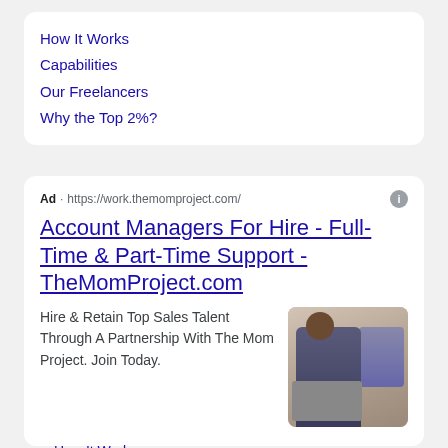How It Works
Capabilities
Our Freelancers
Why the Top 2%?
Ad · https://work.themomproject.com/
Account Managers For Hire - Full-Time & Part-Time Support - TheMomProject.com
Hire & Retain Top Sales Talent Through A Partnership With The Mom Project. Join Today.
[Figure (photo): Woman sitting at laptop, others in background]
How It Works
Plans & Pricing
About Us